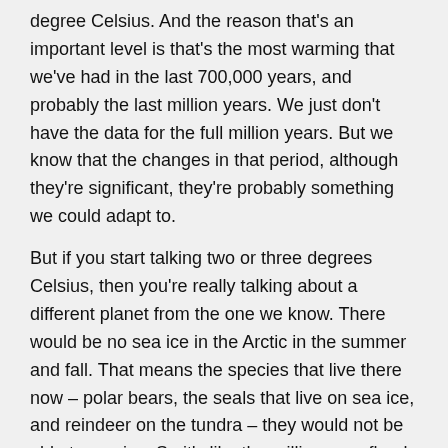degree Celsius. And the reason that's an important level is that's the most warming that we've had in the last 700,000 years, and probably the last million years. We just don't have the data for the full million years. But we know that the changes in that period, although they're significant, they're probably something we could adapt to.
But if you start talking two or three degrees Celsius, then you're really talking about a different planet from the one we know. There would be no sea ice in the Arctic in the summer and fall. That means the species that live there now – polar bears, the seals that live on sea ice, and reindeer on the tundra – they would not be able to survive. So it's like the million-year flood; it's never happened in the past century. So, were talking large regional changes.
And for people, well, we can adapt. I mean, we can move